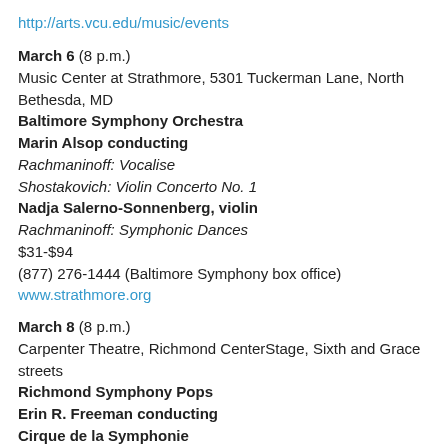http://arts.vcu.edu/music/events
March 6 (8 p.m.)
Music Center at Strathmore, 5301 Tuckerman Lane, North Bethesda, MD
Baltimore Symphony Orchestra
Marin Alsop conducting
Rachmaninoff: Vocalise
Shostakovich: Violin Concerto No. 1
Nadja Salerno-Sonnenberg, violin
Rachmaninoff: Symphonic Dances
$31-$94
(877) 276-1444 (Baltimore Symphony box office)
www.strathmore.org
March 8 (8 p.m.)
Carpenter Theatre, Richmond CenterStage, Sixth and Grace streets
Richmond Symphony Pops
Erin R. Freeman conducting
Cirque de la Symphonie
works by Shostakovich, Brahms, Bernstein, Saint-Saëns,